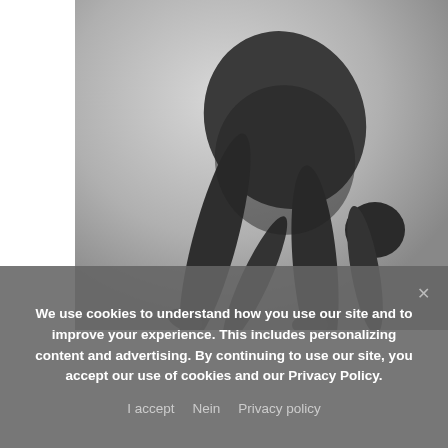[Figure (photo): Black and white photograph of a nude human figure bending forward deeply, head down, arms reaching toward the floor, legs straight, viewed from behind/side against a light gray gradient background.]
We use cookies to understand how you use our site and to improve your experience. This includes personalizing content and advertising. By continuing to use our site, you accept our use of cookies and our Privacy Policy.
I accept   Nein   Privacy policy